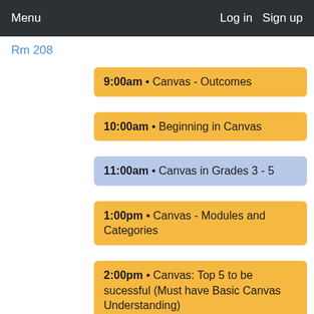Menu   Log in   Sign up
Rm 208
9:00am • Canvas - Outcomes
10:00am • Beginning in Canvas
11:00am • Canvas in Grades 3 - 5
1:00pm • Canvas - Modules and Categories
2:00pm • Canvas: Top 5 to be sucessful (Must have Basic Canvas Understanding)